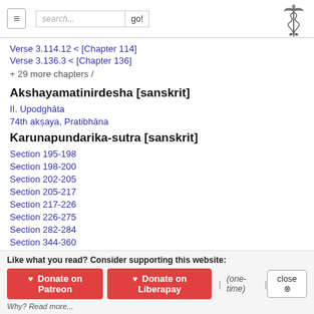search... go!
Verse 3.114.12 < [Chapter 114]
Verse 3.136.3 < [Chapter 136]
+ 29 more chapters /
Akshayamatinirdesha [sanskrit]
II. Upodghāta
74th akṣaya, Pratibhāna
Karunapundarika-sutra [sanskrit]
Section 195-198
Section 198-200
Section 202-205
Section 205-217
Section 217-226
Section 226-275
Section 282-284
Section 344-360
Like what you read? Consider supporting this website: Donate on Patreon | Donate on Liberapay | (one-time) | close | Why? Read more...